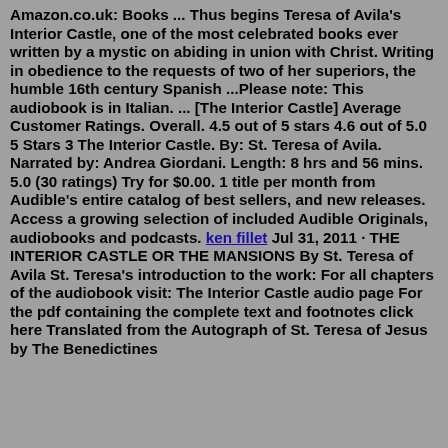Amazon.co.uk: Books ... Thus begins Teresa of Avila's Interior Castle, one of the most celebrated books ever written by a mystic on abiding in union with Christ. Writing in obedience to the requests of two of her superiors, the humble 16th century Spanish ...Please note: This audiobook is in Italian. ... [The Interior Castle] Average Customer Ratings. Overall. 4.5 out of 5 stars 4.6 out of 5.0 5 Stars 3 The Interior Castle. By: St. Teresa of Avila. Narrated by: Andrea Giordani. Length: 8 hrs and 56 mins. 5.0 (30 ratings) Try for $0.00. 1 title per month from Audible's entire catalog of best sellers, and new releases. Access a growing selection of included Audible Originals, audiobooks and podcasts. ken fillet Jul 31, 2011 · THE INTERIOR CASTLE OR THE MANSIONS By St. Teresa of Avila St. Teresa's introduction to the work: For all chapters of the audiobook visit: The Interior Castle audio page For the pdf containing the complete text and footnotes click here Translated from the Autograph of St. Teresa of Jesus by The Benedictines